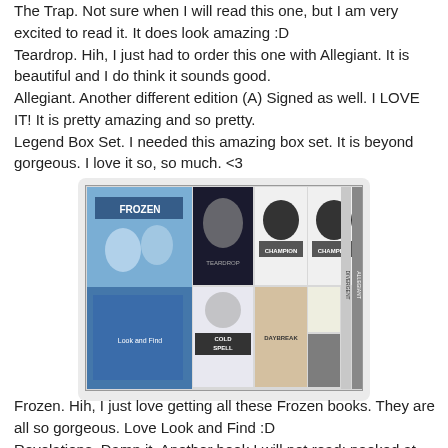The Trap. Not sure when I will read this one, but I am very excited to read it. It does look amazing :D
Teardrop. Hih, I just had to order this one with Allegiant. It is beautiful and I do think it sounds good.
Allegiant. Another different edition (A) Signed as well. I LOVE IT! It is pretty amazing and so pretty.
Legend Box Set. I needed this amazing box set. It is beyond gorgeous. I love it so, so much. <3
[Figure (photo): A photo showing a collection of books laid out on a surface, including Frozen-branded books, Champion books, Cold Spell, Daybreak, and other titles including what appear to be Divergent/Allegiant editions.]
Frozen. Hih, I just love getting all these Frozen books. They are all so gorgeous. Love Look and Find :D
Revelations. Damn it. Another book I will not read; peeked at ending. Waiting for book three first :)